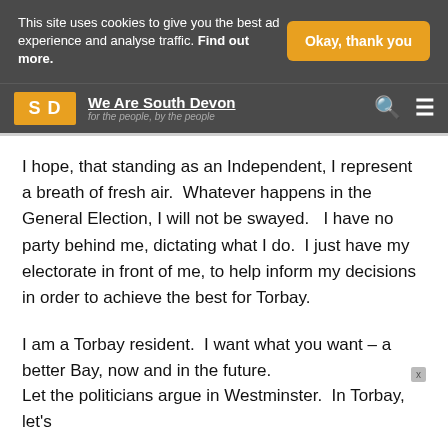This site uses cookies to give you the best ad experience and analyse traffic. Find out more.
Okay, thank you
We Are South Devon — for the people, by the people
I hope, that standing as an Independent, I represent a breath of fresh air. Whatever happens in the General Election, I will not be swayed. I have no party behind me, dictating what I do. I just have my electorate in front of me, to help inform my decisions in order to achieve the best for Torbay.
I am a Torbay resident. I want what you want – a better Bay, now and in the future.
Let the politicians argue in Westminster. In Torbay, let's